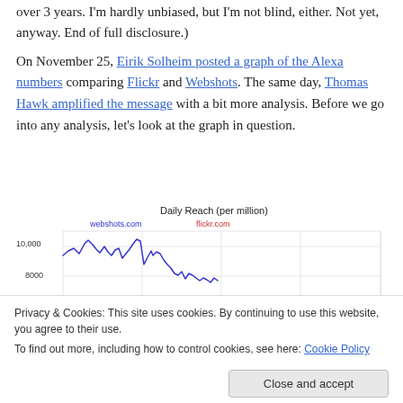over 3 years. I'm hardly unbiased, but I'm not blind, either. Not yet, anyway. End of full disclosure.)
On November 25, Eirik Solheim posted a graph of the Alexa numbers comparing Flickr and Webshots. The same day, Thomas Hawk amplified the message with a bit more analysis. Before we go into any analysis, let's look at the graph in question.
[Figure (continuous-plot): A line chart showing Daily Reach (per million) comparing webshots.com (blue line) and flickr.com (red label). The webshots.com line starts around 9000-10000, peaks near 10000, then declines toward 8000 and lower. The flickr.com line appears to start very low and rise slightly in the visible portion. Y-axis shows values 8000 and 10,000.]
Privacy & Cookies: This site uses cookies. By continuing to use this website, you agree to their use. To find out more, including how to control cookies, see here: Cookie Policy
© 2005 Alexa                                                    2005 Nov 24